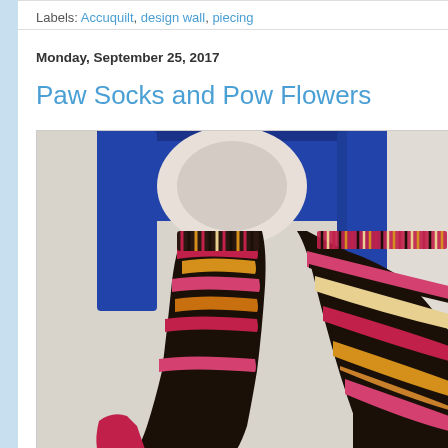Labels: Accuquilt, design wall, piecing
Monday, September 25, 2017
Paw Socks and Pow Flowers
[Figure (photo): A pair of handknitted socks in multicolor yarn (pink, black, orange, cream) hanging on a blue wooden hook against a white wall. The socks show colorwork knitting patterns with ribbing at the cuff.]